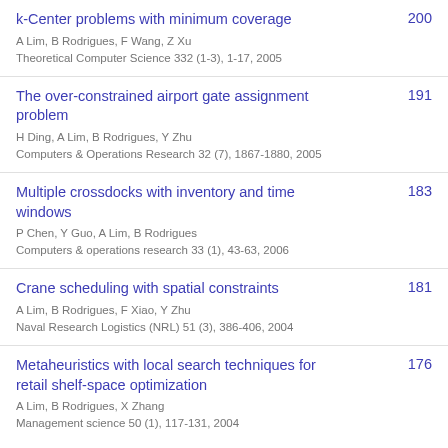k-Center problems with minimum coverage
A Lim, B Rodrigues, F Wang, Z Xu
Theoretical Computer Science 332 (1-3), 1-17, 2005
200
The over-constrained airport gate assignment problem
H Ding, A Lim, B Rodrigues, Y Zhu
Computers & Operations Research 32 (7), 1867-1880, 2005
191
Multiple crossdocks with inventory and time windows
P Chen, Y Guo, A Lim, B Rodrigues
Computers & operations research 33 (1), 43-63, 2006
183
Crane scheduling with spatial constraints
A Lim, B Rodrigues, F Xiao, Y Zhu
Naval Research Logistics (NRL) 51 (3), 386-406, 2004
181
Metaheuristics with local search techniques for retail shelf-space optimization
A Lim, B Rodrigues, X Zhang
Management science 50 (1), 117-131, 2004
176